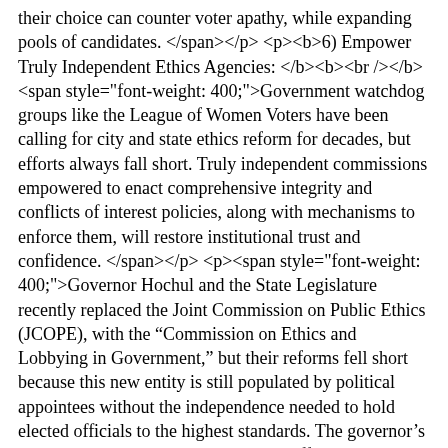their choice can counter voter apathy, while expanding pools of candidates. </span></p> <p><b>6) Empower Truly Independent Ethics Agencies: </b><b><br /></b><span style="font-weight: 400;">Government watchdog groups like the League of Women Voters have been calling for city and state ethics reform for decades, but efforts always fall short. Truly independent commissions empowered to enact comprehensive integrity and conflicts of interest policies, along with mechanisms to enforce them, will restore institutional trust and confidence. </span></p> <p><span style="font-weight: 400;">Governor Hochul and the State Legislature recently replaced the Joint Commission on Public Ethics (JCOPE), with the “Commission on Ethics and Lobbying in Government,” but their reforms fell short because this new entity is still populated by political appointees without the independence needed to hold elected officials to the highest standards. The governor’s own ethical questions regarding the Buffalo Bills stadium funding and Penn Station redevelopment deals haven’t helped engender trust in how she has gone about implementing reforms and leading the government. </span></p> <p><span style="font-weight: 400;">New York City’s Conflicts of Interest Board (COIB) should be replaced by independent appointees with enforcement powers outside of political influence. Currently, its membership is nominated by elected officials including the mayor, comptroller, and public advocate.</span></p> <p><span style="font-weight: 400;">Former Mayor Bill de Blasio famously disregarded the Board’s advice and subsequently got to pay multiple